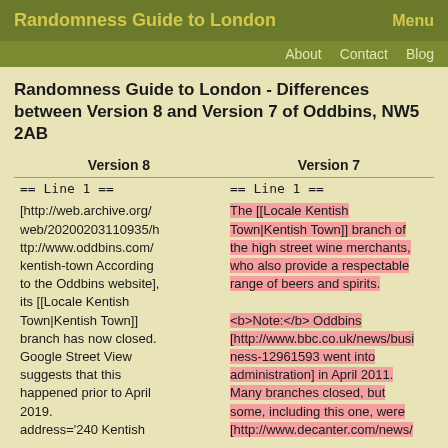Randomness Guide to London  Menu
About  Contact  Blog
Randomness Guide to London - Differences between Version 8 and Version 7 of Oddbins, NW5 2AB
| Version 8 | Version 7 |
| --- | --- |
| == Line 1 == | == Line 1 == |
| [http://web.archive.org/web/20200203110935/http://www.oddbins.com/kentish-town According to the Oddbins website], its [[Locale Kentish Town|Kentish Town]] branch has now closed. Google Street View suggests that this happened prior to April 2019.
address='240 Kentish | The [[Locale Kentish Town|Kentish Town]] branch of the high street wine merchants, who also provide a respectable range of beers and spirits.

<b>Note:</b> Oddbins [http://www.bbc.co.uk/news/business-12961593 went into administration] in April 2011. Many branches closed, but some, including this one, were [http://www.decanter.com/news/ |